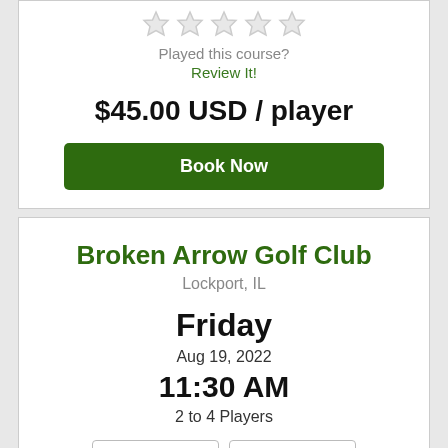[Figure (other): 5 empty star rating icons in a row]
Played this course?
Review It!
$45.00 USD / player
Book Now
Broken Arrow Golf Club
Lockport, IL
Friday
Aug 19, 2022
11:30 AM
2 to 4 Players
Walking Rate
18 Hole Time
[Figure (other): 5 empty star rating icons in a row]
Played this course?